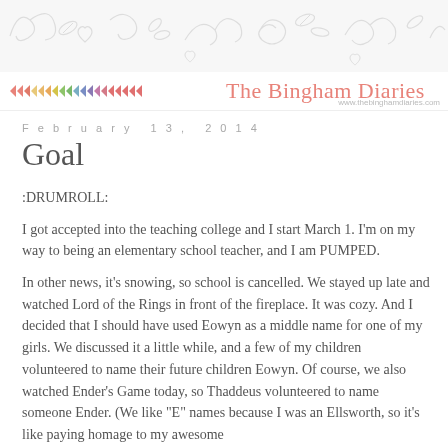[Figure (illustration): Decorative doodle header background with swirls, leaves, hearts, and botanical line art in light gray on off-white]
The Bingham Diaries
www.thebinghamdiaries.com
February 13, 2014
Goal
:DRUMROLL:
I got accepted into the teaching college and I start March 1. I'm on my way to being an elementary school teacher, and I am PUMPED.
In other news, it's snowing, so school is cancelled. We stayed up late and watched Lord of the Rings in front of the fireplace. It was cozy. And I decided that I should have used Eowyn as a middle name for one of my girls. We discussed it a little while, and a few of my children volunteered to name their future children Eowyn. Of course, we also watched Ender's Game today, so Thaddeus volunteered to name someone Ender. (We like "E" names because I was an Ellsworth, so it's like paying homage to my awesome